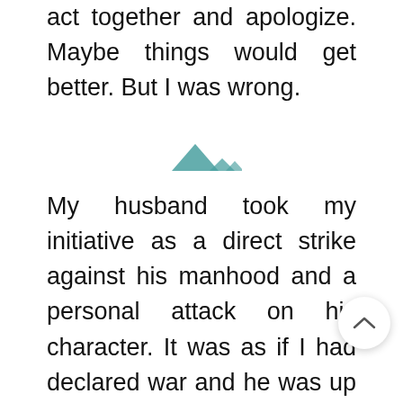act together and apologize. Maybe things would get better. But I was wrong.
[Figure (illustration): Decorative mountain/triangle divider shapes in teal color]
My husband took my initiative as a direct strike against his manhood and a personal attack on his character. It was as if I had declared war and he was up for the battle. He went to family court and made a statement so vicious and so full of lies about me that they told him to report to Child Protective Services instead. He told them I was a drug